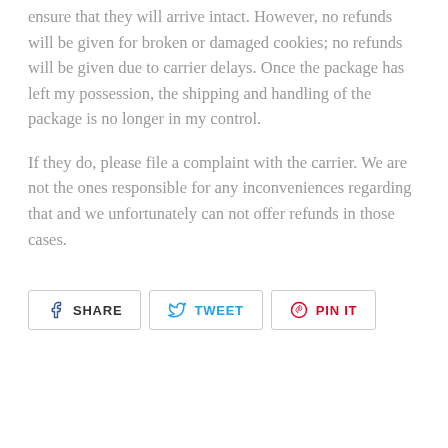ensure that they will arrive intact. However, no refunds will be given for broken or damaged cookies; no refunds will be given due to carrier delays. Once the package has left my possession, the shipping and handling of the package is no longer in my control.
If they do, please file a complaint with the carrier. We are not the ones responsible for any inconveniences regarding that and we unfortunately can not offer refunds in those cases.
[Figure (other): Social sharing buttons: Share (Facebook), Tweet (Twitter), Pin It (Pinterest)]